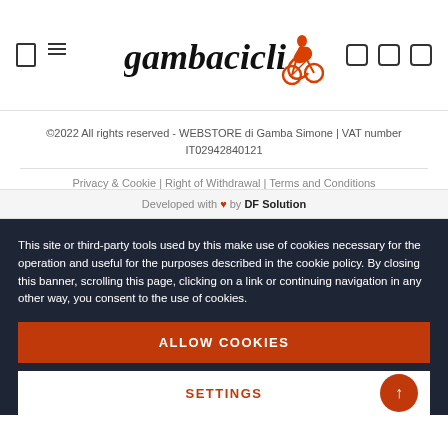[Figure (logo): Gambacicli logo with stylized italic text and orange cyclist icon]
©2022 All rights reserved - WEBSTORE di Gamba Simone | VAT number IT02942840121
Privacy & Cookie | Right of Withdrawal | Terms and Conditions
Developed with ♥ by DF Solution
This site or third-party tools used by this make use of cookies necessary for the operation and useful for the purposes described in the cookie policy. By closing this banner, scrolling this page, clicking on a link or continuing navigation in any other way, you consent to the use of cookies.
ALLOW COOKIES
SETTINGS